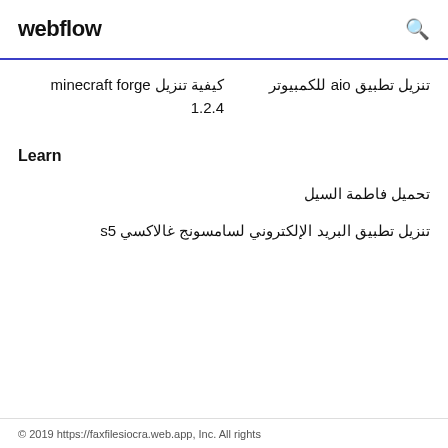webflow
كيفية تنزيل minecraft forge 1.2.4
تنزيل تطبيق aio للكمبيوتر
Learn
تحميل فاطمة السيل
تنزيل تطبيق البريد الإلكتروني لسامسونج غالاكسي s5
© 2019 https://faxfilesiocra.web.app, Inc. All rights